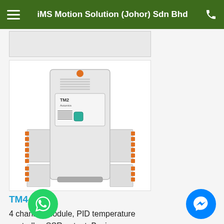iMS Motion Solution (Johor) Sdn Bhd
[Figure (photo): Partial product image strip at top of page, cut off, showing a white background product.]
[Figure (photo): TM4-N2SB module — a white DIN-rail mounted 4 channel PID temperature controller with orange terminal connectors on the left and right sides, a teal indicator button, and label TM2 on the front panel.]
TM4-N2SB
4 channel module, PID temperature controller, SSR output, Basic (Power/